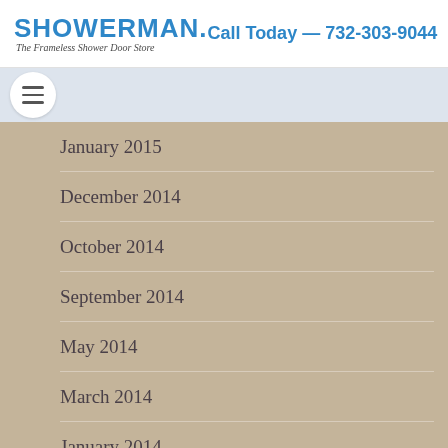ShowerMan. The Frameless Shower Door Store — Call Today — 732-303-9044
January 2015
December 2014
October 2014
September 2014
May 2014
March 2014
January 2014